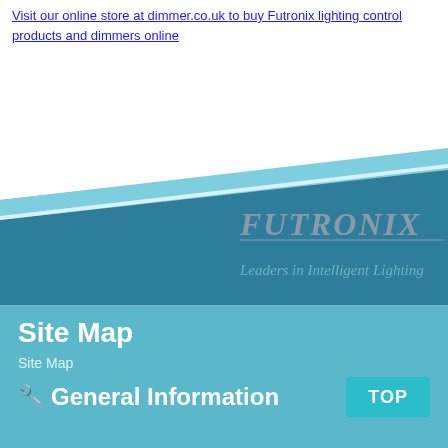Visit our online store at dimmer.co.uk to buy Futronix lighting control products and dimmers online
[Figure (illustration): Futronix banner graphic with blue diagonal wedge shapes and the Futronix logo text with tagline 'Leaders in Intelligent Lighting']
Site Map
Site Map
General Information